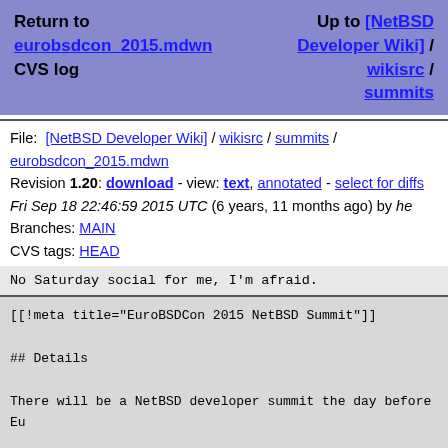Return to eurobsdcon_2015.mdwn CVS log   Up to [NetBSD Developer Wiki] / wikisrc / summits
File: [NetBSD Developer Wiki] / wikisrc / summits / eurobsdcon_2015.mdwn
Revision 1.20: download - view: text, annotated - select for diffs
Fri Sep 18 22:46:59 2015 UTC (6 years, 11 months ago) by he
Branches: MAIN
CVS tags: HEAD
No Saturday social for me, I'm afraid.
[[!meta title="EuroBSDCon 2015 NetBSD Summit"]]

## Details

There will be a NetBSD developer summit the day before Eu

Friday, 2015-10-02, at:

    SUNET
    Tulegatan 11, 3rd floor,
    Stockholm, Sweeden
(See [[https://goo.gl/maps/XSlWB]])